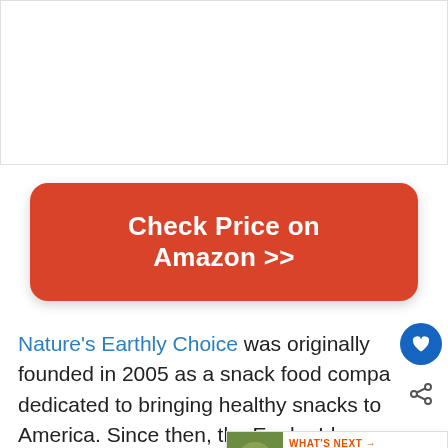[Figure (other): White image placeholder area at the top]
Check Price on Amazon >>
Nature's Earthly Choice was originally founded in 2005 as a snack food company dedicated to bringing healthy snacks to America. Since then, the Eagle, Idaho-based company has greatly expanded its